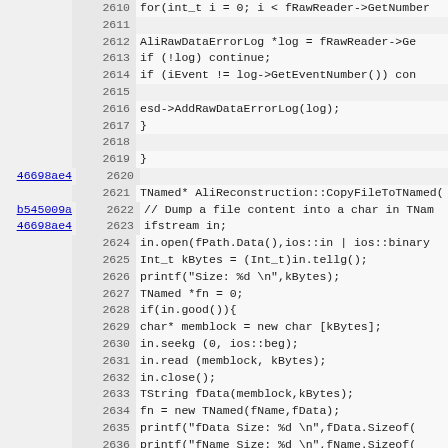[Figure (screenshot): Source code view showing C++ code lines 2610–2642 with git blame annotations (commit hashes 46698ae4, b545009a) on the left margin, line numbers in gray, and code in monospace font on light background.]